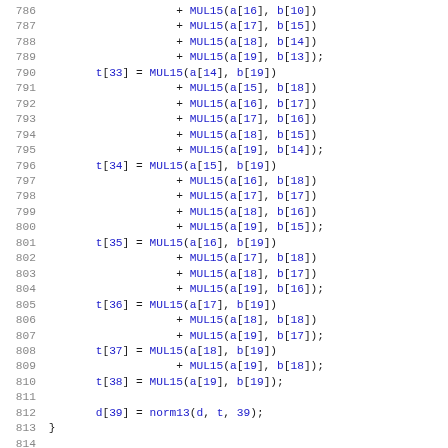Source code listing lines 787-818, C code for polynomial multiplication using MUL15 macro and norm13 function, with square20 function declaration